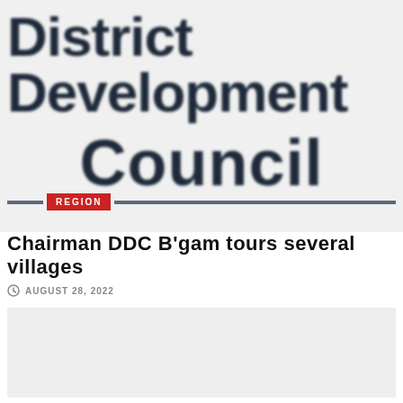[Figure (logo): District Development Council logo in large dark navy bold text on light background]
REGION
Chairman DDC B'gam tours several villages
AUGUST 28, 2022
[Figure (photo): Gray placeholder image box at bottom of page]